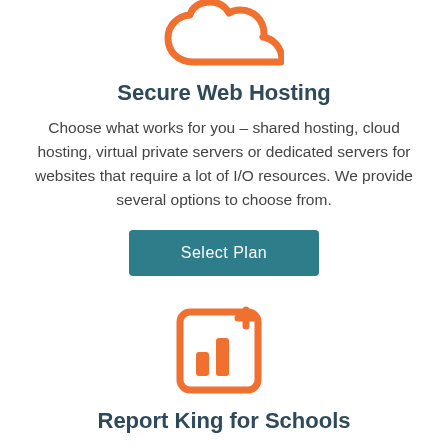[Figure (illustration): Orange cloud icon outline at top of page]
Secure Web Hosting
Choose what works for you – shared hosting, cloud hosting, virtual private servers or dedicated servers for websites that require a lot of I/O resources. We provide several options to choose from.
[Figure (illustration): Orange 'Select Plan' button]
[Figure (illustration): Orange chart/analytics icon with a plus sign]
Report King for Schools